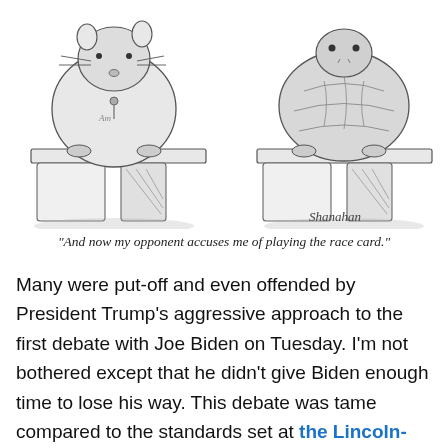[Figure (illustration): A two-panel cartoon illustration by Shanahan showing two animals at debate podiums. On the left is a rat/mouse behind a podium, and on the right is a turtle behind a podium. The cartoon is drawn in a sketchy black-and-white style with the artist's signature 'Shanahan' at the bottom right.]
"And now my opponent accuses me of playing the race card."
Many were put-off and even offended by President Trump's aggressive approach to the first debate with Joe Biden on Tuesday. I'm not bothered except that he didn't give Biden enough time to lose his way. This debate was tame compared to the standards set at the Lincoln-Douglas debates, which were full of insults, crude language, and racial epithets.